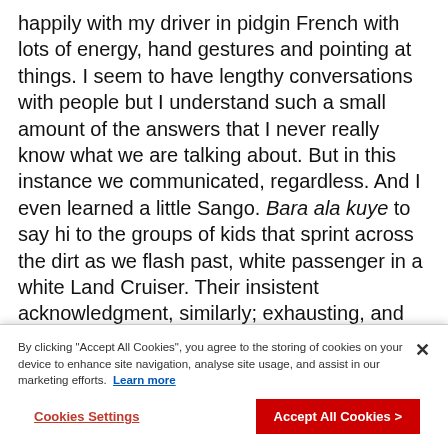happily with my driver in pidgin French with lots of energy, hand gestures and pointing at things. I seem to have lengthy conversations with people but I understand such a small amount of the answers that I never really know what we are talking about. But in this instance we communicated, regardless. And I even learned a little Sango. Bara ala kuye to say hi to the groups of kids that sprint across the dirt as we flash past, white passenger in a white Land Cruiser. Their insistent acknowledgment, similarly; exhausting, and brilliantly bizarre.  I waved ceaselessly at these insatiable children as they
By clicking "Accept All Cookies", you agree to the storing of cookies on your device to enhance site navigation, analyse site usage, and assist in our marketing efforts. Learn more
Cookies Settings
Accept All Cookies >